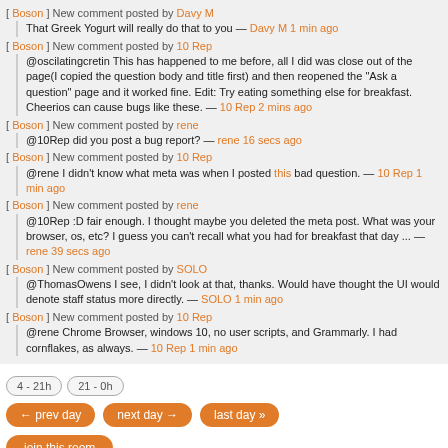[ Boson ] New comment posted by Davy M
That Greek Yogurt will really do that to you — Davy M 1 min ago
[ Boson ] New comment posted by 10 Rep
@oscilatingcretin This has happened to me before, all I did was close out of the page(I copied the question body and title first) and then reopened the "Ask a question" page and it worked fine. Edit: Try eating something else for breakfast. Cheerios can cause bugs like these. — 10 Rep 2 mins ago
[ Boson ] New comment posted by rene
@10Rep did you post a bug report? — rene 16 secs ago
[ Boson ] New comment posted by 10 Rep
@rene I didn't know what meta was when I posted this bad question. — 10 Rep 1 min ago
[ Boson ] New comment posted by rene
@10Rep :D fair enough. I thought maybe you deleted the meta post. What was your browser, os, etc? I guess you can't recall what you had for breakfast that day ... — rene 39 secs ago
[ Boson ] New comment posted by SOLO
@ThomasOwens I see, I didn't look at that, thanks. Would have thought the UI would denote staff status more directly. — SOLO 1 min ago
[ Boson ] New comment posted by 10 Rep
@rene Chrome Browser, windows 10, no user scripts, and Grammarly. I had cornflakes, as always. — 10 Rep 1 min ago